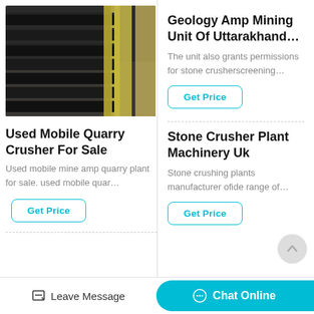[Figure (photo): Industrial stone crusher / screening machine with black metal panels and yellow frame structure, photographed in a warehouse or factory setting.]
Geology Amp Mining Unit Of Uttarakhand...
The unit also grants permissions for stone crusherscreening…
Get Price
Used Mobile Quarry Crusher For Sale
Used mobile mine amp quarry plant for sale. used mobile quar…
Get Price
Stone Crusher Plant Machinery Uk
Stone crushing plants manufacturer ofide range of…
Get Price
Leave Message  Chat Online